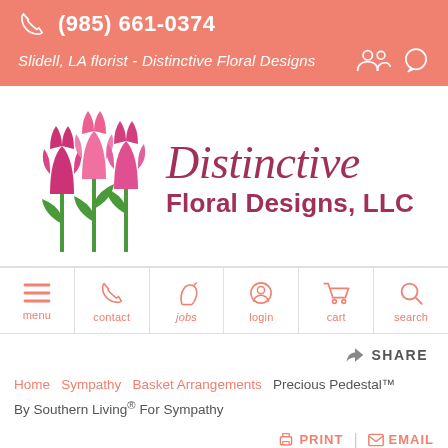(985) 661-0374 | Slidell, LA florist - Distinctive Floral Designs
[Figure (logo): Distinctive Floral Designs, LLC logo with two pink tulips and the business name in dark rose/maroon script and bold text]
[Figure (infographic): Navigation bar with icons: menu, contact, jobs, login, cart, search]
SHARE
Home > Sympathy > Basket Arrangements > Precious Pedestal™ By Southern Living® For Sympathy
PRINT | EMAIL
Precious Pedestal™ By